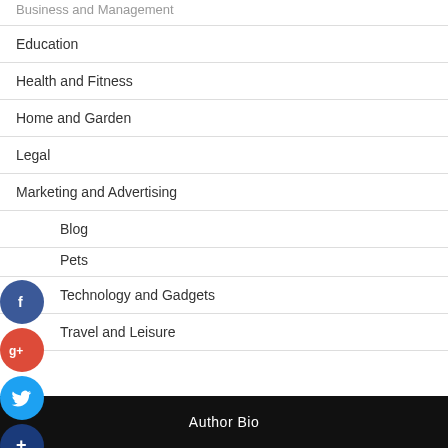Business and Management
Education
Health and Fitness
Home and Garden
Legal
Marketing and Advertising
Blog
Pets
Technology and Gadgets
Travel and Leisure
Author Bio